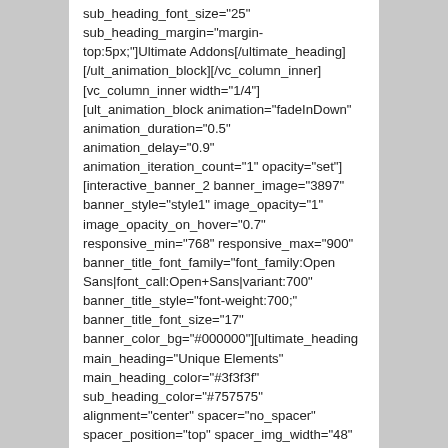sub_heading_font_size="25" sub_heading_margin="margin-top:5px;"]Ultimate Addons[/ultimate_heading][/ult_animation_block][/vc_column_inner][vc_column_inner width="1/4"][ult_animation_block animation="fadeInDown" animation_duration="0.5" animation_delay="0.9" animation_iteration_count="1" opacity="set"][interactive_banner_2 banner_image="3897" banner_style="style1" image_opacity="1" image_opacity_on_hover="0.7" responsive_min="768" responsive_max="900" banner_title_font_family="font_family:Open Sans|font_call:Open+Sans|variant:700" banner_title_style="font-weight:700;" banner_title_font_size="17" banner_color_bg="#000000"][ultimate_heading main_heading="Unique Elements" main_heading_color="#3f3f3f" sub_heading_color="#757575" alignment="center" spacer="no_spacer" spacer_position="top" spacer_img_width="48" line_style="solid" line_height="1" line_color="#333333" icon_type="selector" icon_size="32" icon_style="none" icon_color_border="#333333" icon_border_size="1" icon_border_radius="500" icon_border_spacing="50" img_width="48" line_icon_fixer="10" main_heading_font_family="font_family:Raleway|font_c